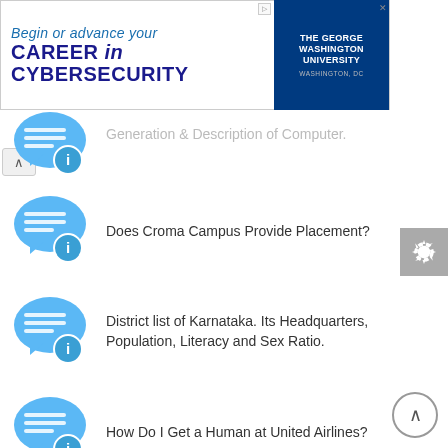[Figure (other): Advertisement banner for The George Washington University Cybersecurity program. Text: 'Begin or advance your CAREER in CYBERSECURITY' with GWU logo on right side.]
Generation & Description of Computer.
Does Croma Campus Provide Placement?
District list of Karnataka. Its Headquarters, Population, Literacy and Sex Ratio.
How Do I Get a Human at United Airlines?
Some points for computers to recognize USB devices.